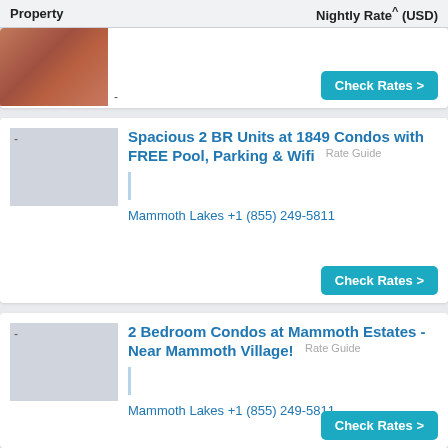| Property | Nightly Rate^ (USD) |
| --- | --- |
[Figure (photo): Partial photo of a wood-toned interior room, top of page]
-
Check Rates >
-
Spacious 2 BR Units at 1849 Condos with FREE Pool, Parking & Wifi
Rate Guide
Mammoth Lakes +1 (855) 249-5811
Check Rates >
-
2 Bedroom Condos at Mammoth Estates - Near Mammoth Village!
Rate Guide
Mammoth Lakes +1 (855) 249-5811
Check Rates >